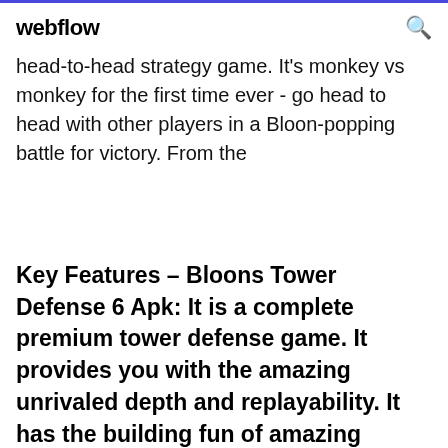webflow
head-to-head strategy game. It's monkey vs monkey for the first time ever - go head to head with other players in a Bloon-popping battle for victory. From the
Key Features – Bloons Tower Defense 6 Apk: It is a complete premium tower defense game. It provides you with the amazing unrivaled depth and replayability. It has the building fun of amazing towers. It has 21 different and